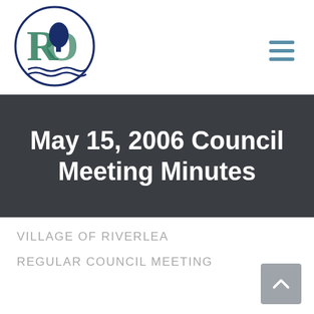[Figure (logo): Village of Riverlea circular logo with stylized letters R and O, a dark blue tree, and wave lines at the bottom, enclosed in a navy circle]
May 15, 2006 Council Meeting Minutes
VILLAGE OF RIVERLEA
REGULAR COUNCIL MEETING